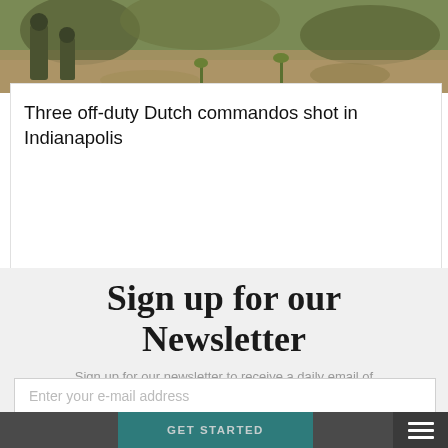[Figure (photo): Military soldiers in camouflage gear in a forested/outdoor environment]
Three off-duty Dutch commandos shot in Indianapolis
Sign up for our Newsletter
Sign up for our newsletter to receive a daily email of our best content
Enter your e-mail address
GET STARTED